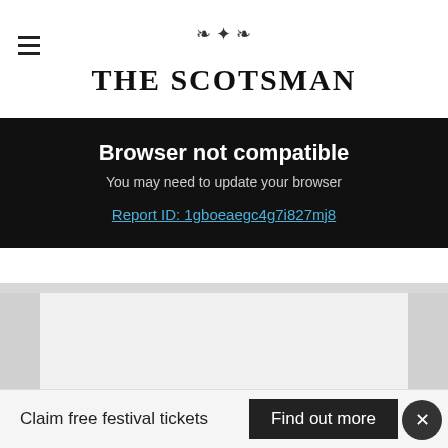THE SCOTSMAN
Browser not compatible
You may need to update your browser
Report ID: 1gboeaegc4g7i827mj8
[Figure (other): Grey advertisement placeholder area with lighter inner rectangle]
“Lindo finds an ally in his mentor, DCI Tara
Claim free festival tickets
Find out more